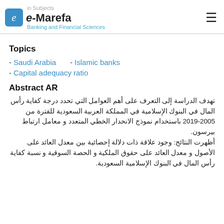e-Marefa — Banking and Financial Sciences
Topics
- Saudi Arabia    - Islamic banks
- Capital adequacy ratio
Abstract AR
تهدف الدراسة إلى التعرف على أهم العوامل التي تحدد درجة كفاية رأس المال في البنوك الإسلامية في المملكة العربية السعودية للفترة من 2005-2019 باستخدام نموذج الانحدار الخطي المتعدد و معامل ارتباط بيرسون.
أظهرت النتائج: وجود علاقة ذات دلالة إحصائية بين معدل العائد على الأصول و معدل العائد على حقوق الملكية و الحصة السوقية و نسبة كفاية رأس المال في البنوك الإسلامية السعودية.